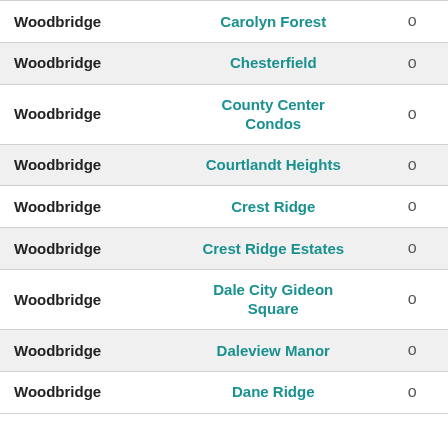| Woodbridge | Carolyn Forest | o |
| Woodbridge | Chesterfield | o |
| Woodbridge | County Center Condos | o |
| Woodbridge | Courtlandt Heights | o |
| Woodbridge | Crest Ridge | o |
| Woodbridge | Crest Ridge Estates | o |
| Woodbridge | Dale City Gideon Square | o |
| Woodbridge | Daleview Manor | o |
| Woodbridge | Dane Ridge | o |